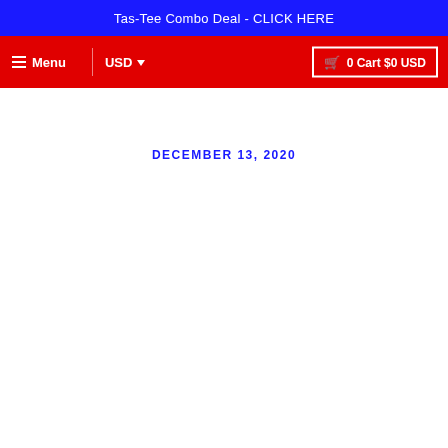Tas-Tee Combo Deal - CLICK HERE
Menu  USD  0 Cart $0 USD
DECEMBER 13, 2020